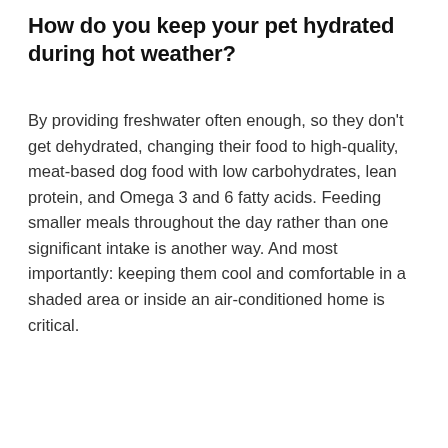How do you keep your pet hydrated during hot weather?
By providing freshwater often enough, so they don't get dehydrated, changing their food to high-quality, meat-based dog food with low carbohydrates, lean protein, and Omega 3 and 6 fatty acids. Feeding smaller meals throughout the day rather than one significant intake is another way. And most importantly: keeping them cool and comfortable in a shaded area or inside an air-conditioned home is critical.